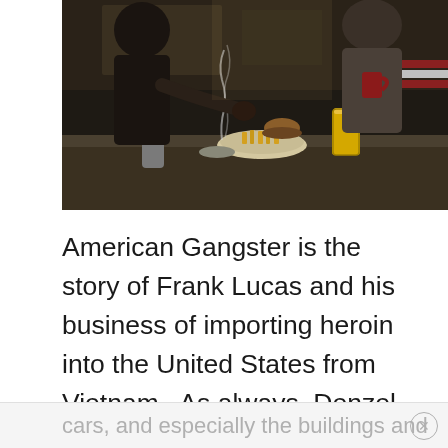[Figure (photo): A diner scene showing people at a counter with food, drinks, and a cigarette with smoke visible. Dark, moody lighting suggesting a period setting.]
American Gangster is the story of Frank Lucas and his business of importing heroin into the United States from Vietnam.  As always, Denzel turns in a great performance (as does Crowe), but what was most impressive about this movie was Scott's ability to capture the essence of 1960s Harlem.  The clothes,
cars, and especially the buildings and